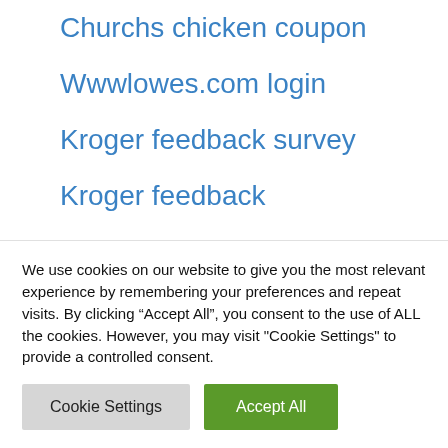Churchs chicken coupon
Wwwlowes.com login
Kroger feedback survey
Kroger feedback
Dd survey
Valvoline.com
Jack and the box
We use cookies on our website to give you the most relevant experience by remembering your preferences and repeat visits. By clicking “Accept All”, you consent to the use of ALL the cookies. However, you may visit "Cookie Settings" to provide a controlled consent.
Cookie Settings | Accept All